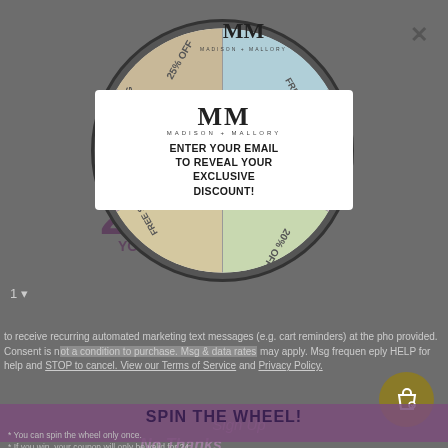[Figure (screenshot): Madison Mallory brand website screenshot with spin-the-wheel promotional popup modal. Background shows cart page with quantity selector and terms text. Foreground shows a segmented spinning wheel with sections labeled 25% OFF, FREE SHIPPING, $10 OFF $50, 20% OFF, FREE SHIPPING in pastel colors. A white modal popup overlays the wheel showing MM logo, 'ENTER YOUR EMAIL TO REVEAL YOUR EXCLUSIVE DISCOUNT!' text. Below is a 'SPIN THE WHEEL!' call-to-action button. Fine print notes wheel can only be spun once and coupon valid 24 hours.]
1
to receive recurring automated marketing text messages (e.g. cart reminders) at the phone provided. Consent is not a condition to purchase. Msg & data rates may apply. Msg frequency. eply HELP for help and STOP to cancel. View our Terms of Service and Privacy Policy.
SPIN THE WHEEL!
Sign Up
* You can spin the wheel only once.
* If you win, your coupon will only be valid for 24 hours.
* Single use coupon.
No Thanks